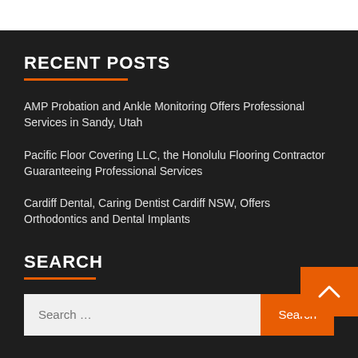RECENT POSTS
AMP Probation and Ankle Monitoring Offers Professional Services in Sandy, Utah
Pacific Floor Covering LLC, the Honolulu Flooring Contractor Guaranteeing Professional Services
Cardiff Dental, Caring Dentist Cardiff NSW, Offers Orthodontics and Dental Implants
SEARCH